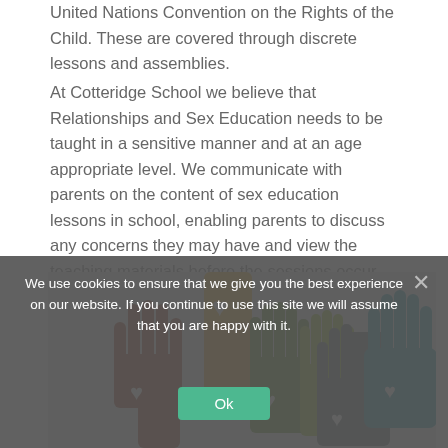United Nations Convention on the Rights of the Child. These are covered through discrete lessons and assemblies.
At Cotteridge School we believe that Relationships and Sex Education needs to be taught in a sensitive manner and at an age appropriate level. We communicate with parents on the content of sex education lessons in school, enabling parents to discuss any concerns they may have and view the teaching materials before the sessions occur.
[Figure (illustration): Colorful illustration of raised hands in various colors (dark red, orange, green, yellow-green, teal, blue) with white heart shapes on the palms, on a light gray background.]
We use cookies to ensure that we give you the best experience on our website. If you continue to use this site we will assume that you are happy with it.